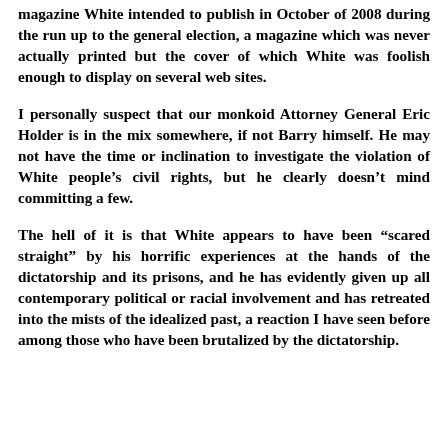magazine White intended to publish in October of 2008 during the run up to the general election, a magazine which was never actually printed but the cover of which White was foolish enough to display on several web sites.
I personally suspect that our monkoid Attorney General Eric Holder is in the mix somewhere, if not Barry himself. He may not have the time or inclination to investigate the violation of White people's civil rights, but he clearly doesn't mind committing a few.
The hell of it is that White appears to have been “scared straight” by his horrific experiences at the hands of the dictatorship and its prisons, and he has evidently given up all contemporary political or racial involvement and has retreated into the mists of the idealized past, a reaction I have seen before among those who have been brutalized by the dictatorship.